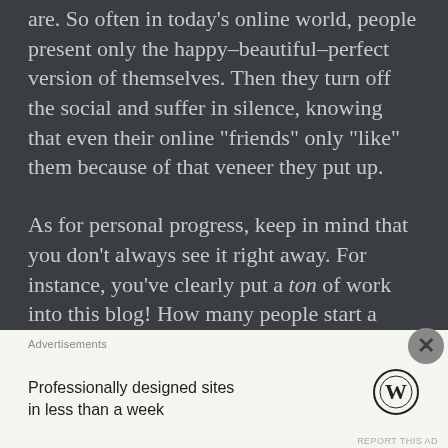are. So often in today's online world, people present only the happy–beautiful–perfect version of themselves. Then they turn off the social and suffer in silence, knowing that even their online “friends” only “like” them because of that veneer they put up.
As for personal progress, keep in mind that you don’t always see it right away. For instance, you’ve clearly put a ton of work into this blog! How many people start a blog or other undertaking and then quit
Advertisements
Professionally designed sites in less than a week